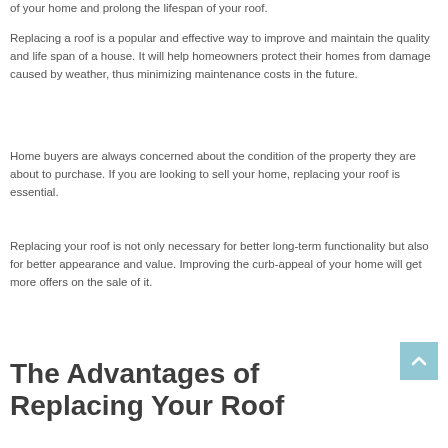of your home and prolong the lifespan of your roof.
Replacing a roof is a popular and effective way to improve and maintain the quality and life span of a house. It will help homeowners protect their homes from damage caused by weather, thus minimizing maintenance costs in the future.
Home buyers are always concerned about the condition of the property they are about to purchase. If you are looking to sell your home, replacing your roof is essential.
Replacing your roof is not only necessary for better long-term functionality but also for better appearance and value. Improving the curb-appeal of your home will get more offers on the sale of it.
The Advantages of Replacing Your Roof